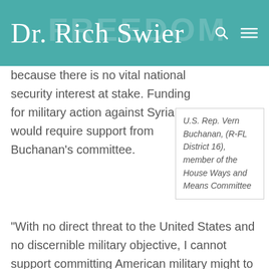Dr. Rich Swier
because there is no vital national security interest at stake. Funding for military action against Syria would require support from Buchanan’s committee.
U.S. Rep. Vern Buchanan, (R-FL District 16), member of the House Ways and Means Committee
“With no direct threat to the United States and no discernible military objective, I cannot support committing American military might to a civil war in the Middle East where the lines are blurred between friend and foe,” Buchanan said.